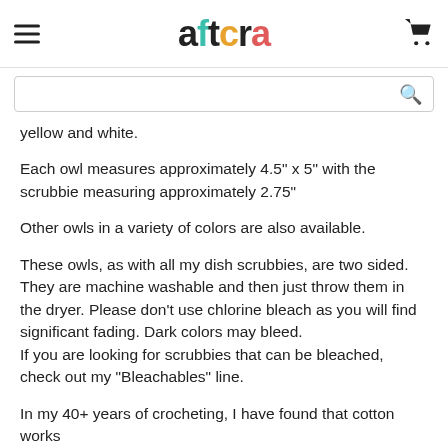aftcra
yellow and white.
Each owl measures approximately 4.5" x 5" with the scrubbie measuring approximately 2.75"
Other owls in a variety of colors are also available.
These owls, as with all my dish scrubbies, are two sided. They are machine washable and then just throw them in the dryer. Please don’t use chlorine bleach as you will find significant fading. Dark colors may bleed.
If you are looking for scrubbies that can be bleached, check out my "Bleachables" line.
In my 40+ years of crocheting, I have found that cotton works